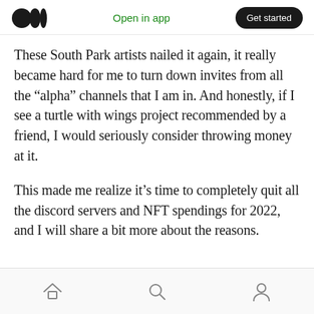Medium — Open in app | Get started
These South Park artists nailed it again, it really became hard for me to turn down invites from all the “alpha” channels that I am in. And honestly, if I see a turtle with wings project recommended by a friend, I would seriously consider throwing money at it.
This made me realize it’s time to completely quit all the discord servers and NFT spendings for 2022, and I will share a bit more about the reasons.
Home | Search | Profile